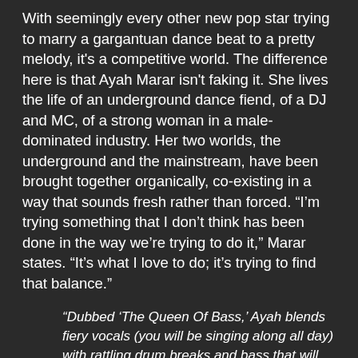With seemingly every other new pop star trying to marry a gargantuan dance beat to a pretty melody, it's a competitive world. The difference here is that Ayah Marar isn't faking it. She lives the life of an underground dance fiend, of a DJ and MC, of a strong woman in a male-dominated industry. Her two worlds, the underground and the mainstream, have been brought together organically, co-existing in a way that sounds fresh rather than forced. “I’m trying something that I don’t think has been done in the way we’re trying to do it,” Marar states. “It’s what I love to do; it’s trying to find that balance.”
“Dubbed ‘The Queen Of Bass,’ Ayah blends fiery vocals (you will be singing along all day) with rattling drum breaks and bass that will slam you in the face.” – Vibe
“Ayah Marar establishes her own pop identity brilliantly.” – Q Magazine